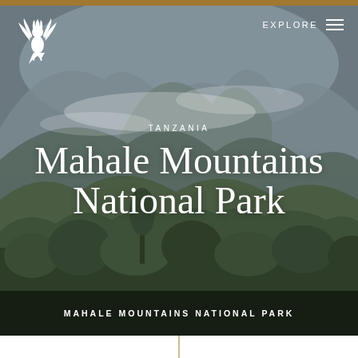[Figure (photo): Aerial/ground view of Mahale Mountains National Park in Tanzania showing misty mountains with lush green forested slopes and trees in the foreground]
EXPLORE
TANZANIA
Mahale Mountains National Park
MAHALE MOUNTAINS NATIONAL PARK